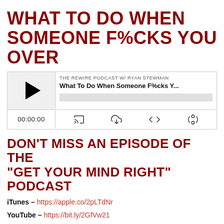WHAT TO DO WHEN SOMEONE F%CKS YOU OVER
[Figure (screenshot): Podcast player widget for 'The Rewire Podcast w/ Ryan Stewman' episode titled 'What To Do When Someone F%cks Y...' showing a play button, progress bar, timestamp 00:00:00, and playback control icons.]
DON'T MISS AN EPISODE OF THE "GET YOUR MIND RIGHT" PODCAST
iTunes – https://apple.co/2pLTdNr
YouTube – https://bit.ly/2GfVw21
Libsyn – https://bit.ly/2pK07Ds
Subscribe, leave a comment, a review and share